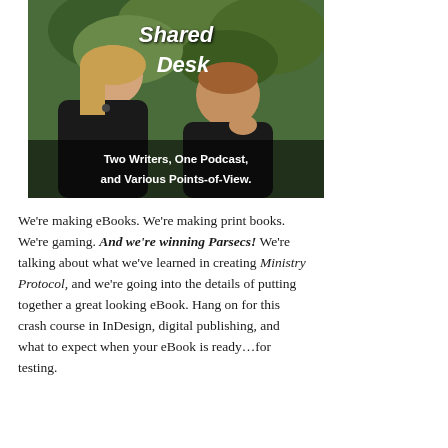[Figure (photo): Photo of two people (a woman and a man) outdoors with greenery background. Overlaid text reads 'Shared Desk' in handwritten style at top, and 'Two Writers, One Podcast, and Various Points-of-View.' in white text at the bottom of the image.]
We're making eBooks. We're making print books. We're gaming. And we're winning Parsecs! We're talking about what we've learned in creating Ministry Protocol, and we're going into the details of putting together a great looking eBook. Hang on for this crash course in InDesign, digital publishing, and what to expect when your eBook is ready…for testing.